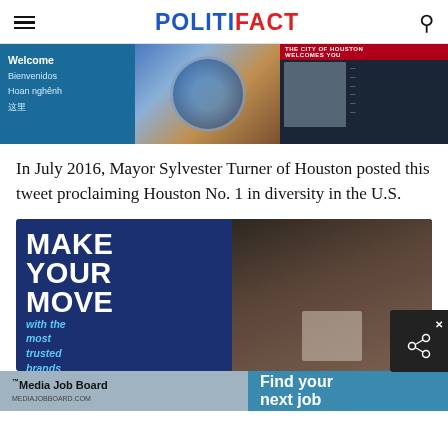POLITIFACT
[Figure (photo): Photo strip showing Houston city welcome signage with multilingual welcome text (Welcome, Bienvenidos, Hoan nghênh) on blue background, and a screen showing Mayor Sylvester Turner with city of Houston branding on right side.]
In July 2016, Mayor Sylvester Turner of Houston posted this tweet proclaiming Houston No. 1 in diversity in the U.S.
[Figure (photo): Advertisement banner reading 'MAKE YOUR MOVE with the most trusted brands in media' on dark blue background with a photo of a Black man in a suit looking at a tablet, followed by Media Job Board and 'Find your next job' footer.]